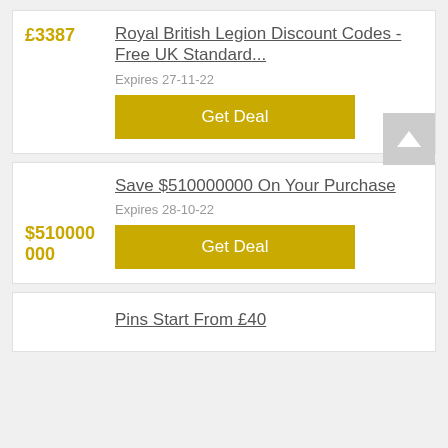Royal British Legion Discount Codes - Free UK Standard...
Expires 27-11-22
Get Deal
Save $510000000 On Your Purchase
Expires 28-10-22
Get Deal
Pins Start From £40